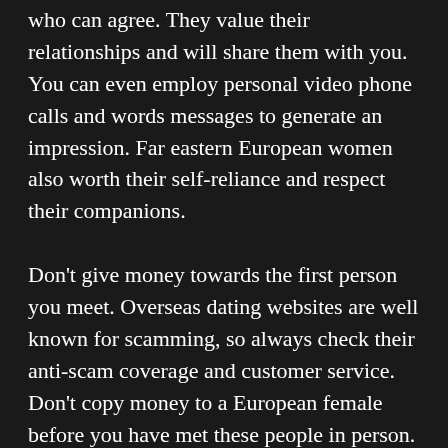who can agree. They value their relationships and will share them with you. You can even employ personal video phone calls and words messages to generate an impression. Far eastern European women also worth their self-reliance and respect their companions.
Don't give money towards the first person you meet. Overseas dating websites are well known for scamming, so always check their anti-scam coverage and customer service. Don't copy money to a European female before you have met these people in person. A few scammers operate the information they get from one to blackmail you. To avoid this kind of, sign up for a European dating website with a huge success